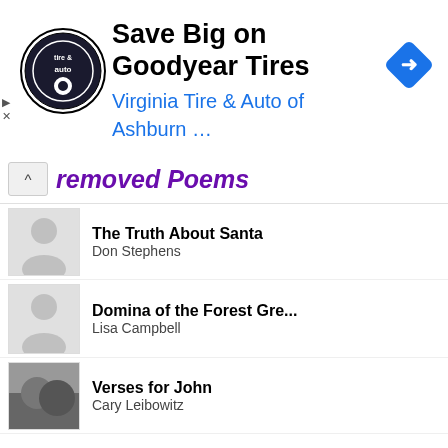[Figure (screenshot): Advertisement banner for Virginia Tire & Auto of Ashburn featuring Goodyear Tires logo, headline 'Save Big on Goodyear Tires', and a blue navigation icon]
removed Poems
The Truth About Santa
Don Stephens
Domina of the Forest Gre...
Lisa Campbell
Verses for John
Cary Leibowitz
Alderamin Is Falling
Jimmy Ash
T.O.X.I.C. - but not rea...
Kari Michele Chrichlow
Opening lines of Epandun...
William G. Carpenter
Industrial Waste
Will Martin